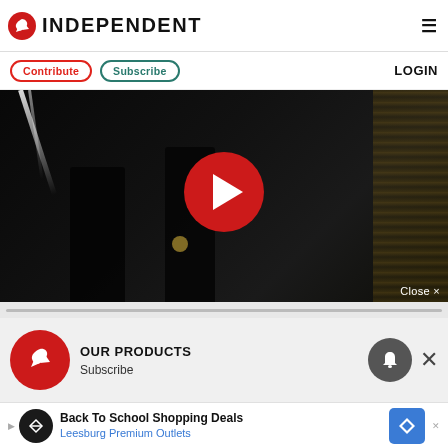INDEPENDENT
Contribute  Subscribe  LOGIN
[Figure (screenshot): Video player showing dark stage scene with two figures and a large red play button in the center. Close button at bottom right.]
Close ×
[Figure (logo): Independent eagle logo in red circle]
OUR PRODUCTS
Subscribe
[Figure (infographic): Advertisement bar: Back To School Shopping Deals - Leesburg Premium Outlets]